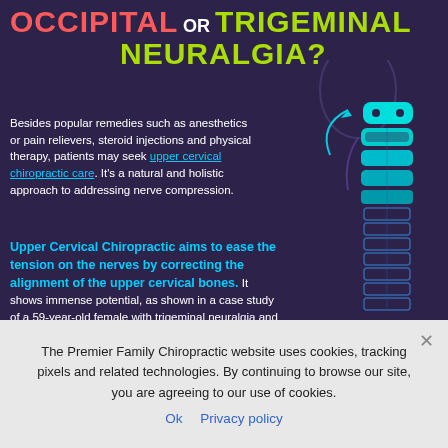OCCIPITAL OR TRIGEMINAL NEURALGIA?
Besides popular remedies such as anesthetics or pain relievers, steroid injections and physical therapy, patients may seek upper cervical chiropractic care. It's a natural and holistic approach to addressing nerve compression.
[Figure (illustration): Anatomical illustration of the cervical spine (upper vertebrae shown in cyan/teal) against a dark purple background, with an arrow pointing to the upper cervical vertebrae. The spine continues downward with detailed vertebrae outlines. A faint human silhouette is visible in the background.]
Upper Cervical Chiropractic aims to ease the tension on the nerves by correcting the alignment of the upper cervical bones. It shows immense potential, as shown in a case study of a 59-year-old female with trigeminal neuralgia and Meniere's disease. After receiving upper cervical adjustments for eight weeks, she reported lesser symptoms.
The Premier Family Chiropractic website uses cookies, tracking pixels and related technologies. By continuing to browse our site, you are agreeing to our use of cookies.
Ok  Privacy policy